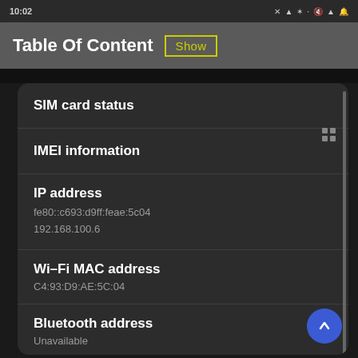[Figure (screenshot): Android phone status bar showing time 10:02 and notification/status icons on the right]
Table Of Content  Show
SIM card status
IMEI information
IP address
fe80::c693:d9ff:feae:5c04
192.168.100.6
Wi-Fi MAC address
C4:93:D9:AE:5C:04
Bluetooth address
Unavailable
Ethernet MAC address
Unavailable
Serial number